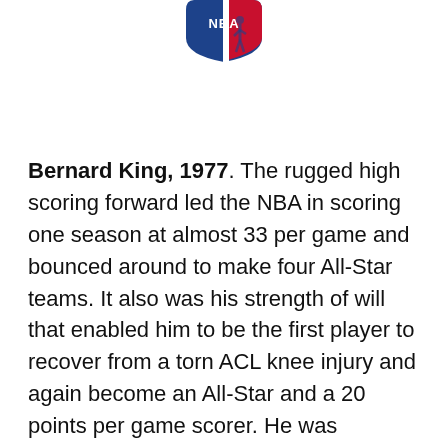[Figure (logo): NBA logo — partial view showing blue shield with 'NBA' text and red silhouette of player]
Bernard King, 1977. The rugged high scoring forward led the NBA in scoring one season at almost 33 per game and bounced around to make four All-Star teams. It also was his strength of will that enabled him to be the first player to recover from a torn ACL knee injury and again become an All-Star and a 20 points per game scorer. He was enshrined in the Hall of Fame in 2013.